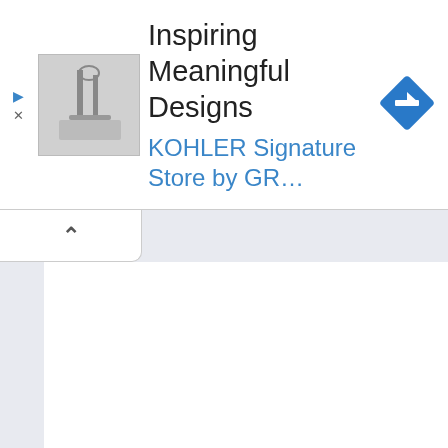[Figure (screenshot): A web advertisement banner for KOHLER Signature Store. Shows a small product thumbnail image on the left (bathroom fixture/sink in gray tones), bold text 'Inspiring Meaningful Designs' in dark gray, blue text 'KOHLER Signature Store by GR...' below, and a blue diamond-shaped navigation/direction icon on the right. Small play and close controls on the far left.]
[Figure (screenshot): A collapse/minimize bar below the ad banner, showing a white rounded-corner tab with an upward caret (^) symbol, indicating the ad can be collapsed.]